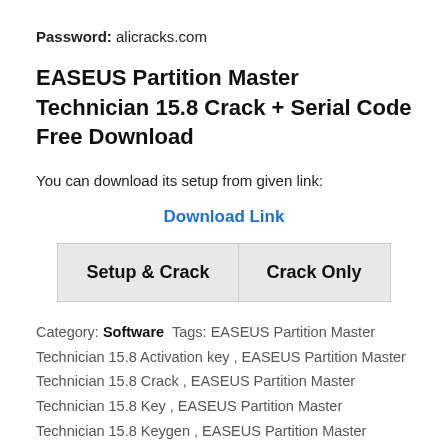Password: alicracks.com
EASEUS Partition Master Technician 15.8 Crack + Serial Code Free Download
You can download its setup from given link:
Download Link
| Setup & Crack | Crack Only |
Category: Software  Tags: EASEUS Partition Master Technician 15.8 Activation key , EASEUS Partition Master Technician 15.8 Crack , EASEUS Partition Master Technician 15.8 Key , EASEUS Partition Master Technician 15.8 Keygen , EASEUS Partition Master Technician 15.8 License key , EASEUS Partition Master Technician 15.8 Patch , EASEUS Partition Master Technician 15.8